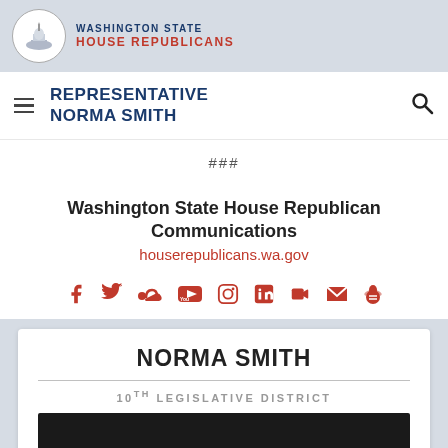WASHINGTON STATE HOUSE REPUBLICANS
REPRESENTATIVE NORMA SMITH
###
Washington State House Republican Communications
houserepublicans.wa.gov
[Figure (infographic): Social media icons: Facebook, Twitter, SoundCloud, YouTube, Instagram, LinkedIn, Periscope, Email, Yelp]
NORMA SMITH
10TH LEGISLATIVE DISTRICT